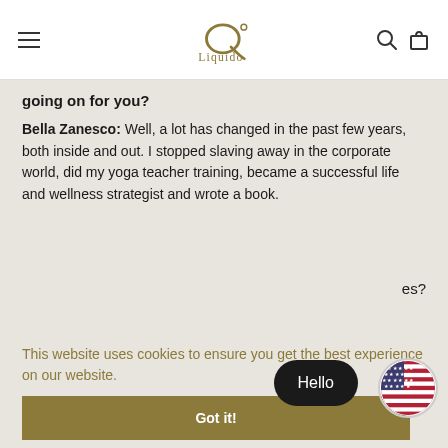Liquido
going on for you?
Bella Zanesco: Well, a lot has changed in the past few years, both inside and out. I stopped slaving away in the corporate world, did my yoga teacher training, became a successful life and wellness strategist and wrote a book.
This website uses cookies to ensure you get the best experience on our website.
Got it!
mirror. I was burnt out, had an adrenal failure and the